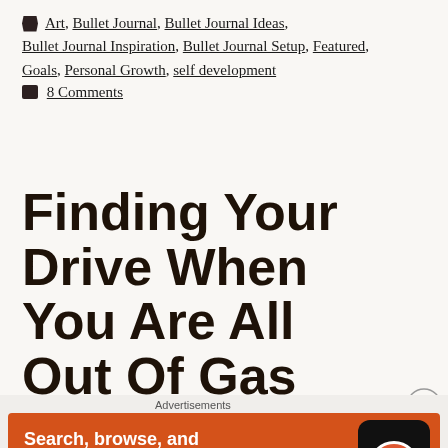🏷 Art, Bullet Journal, Bullet Journal Ideas, Bullet Journal Inspiration, Bullet Journal Setup, Featured, Goals, Personal Growth, self development
💬 8 Comments
Finding Your Drive When You Are All Out Of Gas
[Figure (screenshot): DuckDuckGo advertisement banner with orange background showing 'Search, browse, and email with more privacy. All in One Free App' with a phone mockup and DuckDuckGo logo]